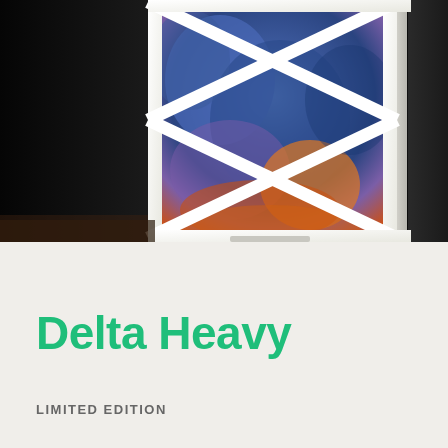[Figure (photo): Close-up photo of a decorative framed artwork or light box with a white geometric triangular frame pattern overlaid on iridescent blue, purple, orange abstract imagery, sitting on a wooden surface against a dark background.]
Delta Heavy
LIMITED EDITION